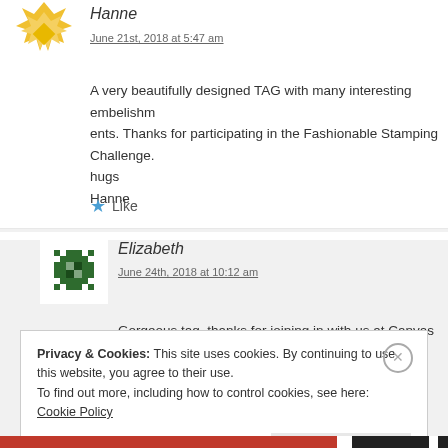Hanne
June 21st, 2018 at 5:47 am
A very beautifully designed TAG with many interesting embelishments. Thanks for participating in the Fashionable Stamping Challenge.
hugs
Hanne
Like
Elizabeth
June 24th, 2018 at 10:12 am
Gorgeous tag, thanks for joining in with us at Canvas Corp Brands!
Elizabeth x
Privacy & Cookies: This site uses cookies. By continuing to use this website, you agree to their use.
To find out more, including how to control cookies, see here: Cookie Policy
Close and accept